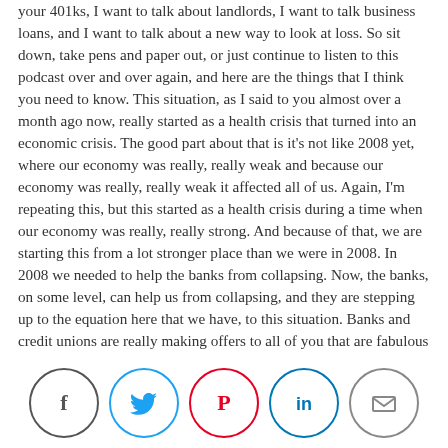your 401ks, I want to talk about landlords, I want to talk business loans, and I want to talk about a new way to look at loss. So sit down, take pens and paper out, or just continue to listen to this podcast over and over again, and here are the things that I think you need to know. This situation, as I said to you almost over a month ago now, really started as a health crisis that turned into an economic crisis. The good part about that is it's not like 2008 yet, where our economy was really, really weak and because our economy was really, really weak it affected all of us. Again, I'm repeating this, but this started as a health crisis during a time when our economy was really, really strong. And because of that, we are starting this from a lot stronger place than we were in 2008. In 2008 we needed to help the banks from collapsing. Now, the banks, on some level, can help us from collapsing, and they are stepping up to the equation here that we have, to this situation. Banks and credit unions are really making offers to all of you that are fabulous right now. And this is one of the reasons as well that a credit union is so incredible because you can go in, well not personally anymore, but you can call in and talk to them and they are more willing to work with you than most major banks. And this is the time that you need some financial institution to work with you. Now, many, many banks there are saying, yep, you don't have to pay your mortgage for three months, but after three months, you owe us that money in full and you
[Figure (infographic): Social media sharing icons: Facebook (dark circle), Twitter (blue circle), Pinterest (red circle), LinkedIn (blue circle), Email (gray circle)]